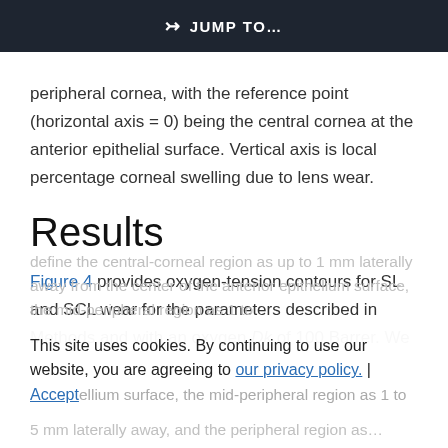JUMP TO…
peripheral cornea, with the reference point (horizontal axis = 0) being the central cornea at the anterior epithelial surface. Vertical axis is local percentage corneal swelling due to lens wear.
Results
Figure 4 provides oxygen-tension contours for SL and SCL wear for the parameters described in Methods and with an oxygen Dk of 100 Barrer. We define the central-corneal region as up to 1 mm laterally away from the center of the anterior epithelium surface, the mid-peripheral region as 1 to 5 mm laterally away, and the peripheral region as…
This site uses cookies. By continuing to use our website, you are agreeing to our privacy policy. Accept